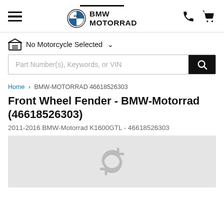[Figure (logo): BMW Motorrad logo with header navigation including hamburger menu, phone icon, and cart icon]
No Motorcycle Selected
Part Number(s), Keywords, or VIN
Home › BMW-MOTORRAD 46618526303
Front Wheel Fender - BMW-Motorrad (46618526303)
2011-2016 BMW-Motorrad K1600GTL - 46618526303
[Figure (photo): Light grey image placeholder area with a circular refresh/loading icon in grey]